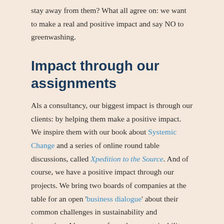stay away from them? What all agree on: we want to make a real and positive impact and say NO to greenwashing.
Impact through our assignments
Als a consultancy, our biggest impact is through our clients: by helping them make a positive impact. We inspire them with our book about Systemic Change and a series of online round table discussions, called Xpedition to the Source. And of course, we have a positive impact through our projects. We bring two boards of companies at the table for an open 'business dialogue' about their common challenges in sustainability and innovation. Also, we perform those sustainability assessments at other companies to measure and